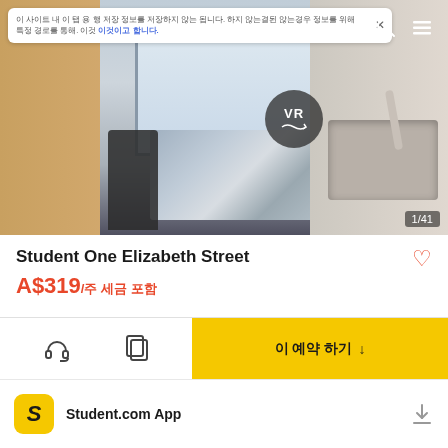[Figure (photo): Interior photo of a student accommodation room showing a bed with chevron-patterned duvet, a desk with chair, large window with city view, and a kitchen area with sink on the right side. A VR button overlay is visible in the center, and a photo counter showing '1/41' is in the bottom right.]
Notification bar with Korean text and a close button
Student One Elizabeth Street
A$319/주 세금 포함
Student.com App with download icon